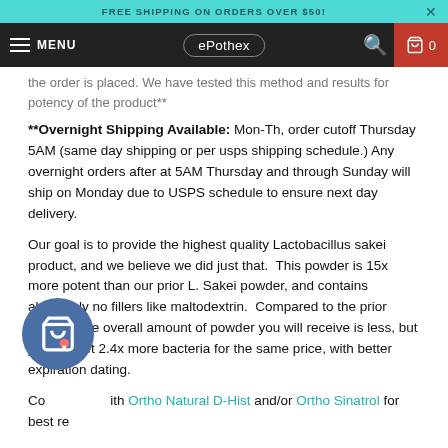FREE SHIPPING ON ORDERS OVER $50!
MENU | ePothex | 0
the order is placed. We have tested this method and results for potency of the product**
**Overnight Shipping Available: Mon-Th, order cutoff Thursday 5AM (same day shipping or per usps shipping schedule.) Any overnight orders after at 5AM Thursday and through Sunday will ship on Monday due to USPS schedule to ensure next day delivery.
Our goal is to provide the highest quality Lactobacillus sakei product, and we believe we did just that.  This powder is 15x more potent than our prior L. Sakei powder, and contains absolutely no fillers like maltodextrin.  Compared to the prior product, the overall amount of powder you will receive is less, but you will get 2.4x more bacteria for the same price, with better expiration dating.
Combine with Ortho Natural D-Hist and/or Ortho Sinatrol for best results.
This sinus probiotic is used to support healthy nasal flora. It is